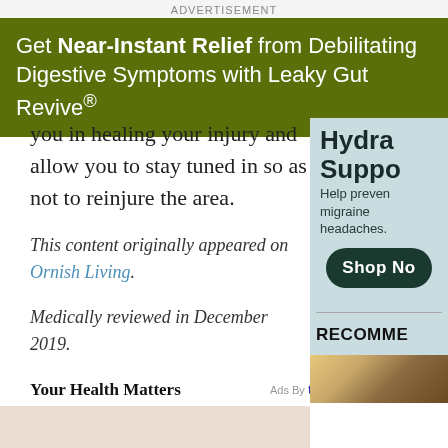ADVERTISEMENT
[Figure (other): Green advertisement banner for Leaky Gut Revive product reading: Get Near-Instant Relief from Debilitating Digestive Symptoms with Leaky Gut Revive®]
you in healing your injury and allow you to stay tuned in so as not to reinjure the area.
This content originally appeared on Ornish Living.
Medically reviewed in December 2019.
Your Health Matters
Ads By tapnative
[Figure (photo): Thumbnail photo showing person with tape measure around waist]
[Figure (other): Sidebar advertisement: Hydra Support - Help prevent migraine headaches. Shop Now button. Background color light teal/blue.]
RECOMME
[Figure (photo): Sidebar thumbnail showing colorful items]